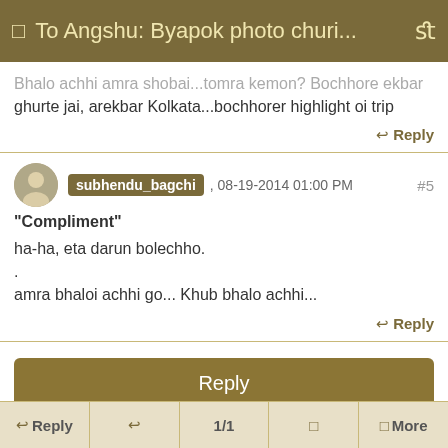To Angshu: Byapok photo churi...
Bhalo achhi amra shobai...tomra kemon? Bochhore ekbar ghurte jai, arekbar Kolkata...bochhorer highlight oi trip
↩ Reply
subhendu_bagchi , 08-19-2014 01:00 PM  #5
"Compliment"
ha-ha, eta darun bolechho.
.
amra bhaloi achhi go... Khub bhalo achhi...
↩ Reply
Reply
↩ Reply  ↩  1/1  ↩  ◻ More